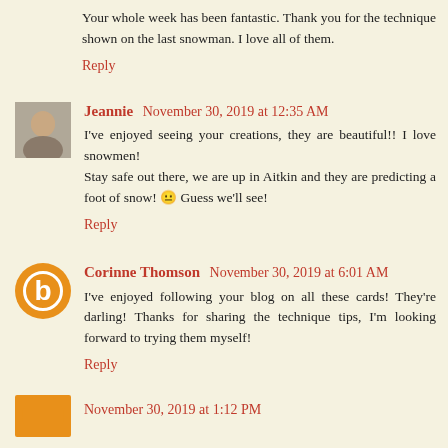Your whole week has been fantastic. Thank you for the technique shown on the last snowman. I love all of them.
Reply
Jeannie  November 30, 2019 at 12:35 AM
I've enjoyed seeing your creations, they are beautiful!! I love snowmen!
Stay safe out there, we are up in Aitkin and they are predicting a foot of snow! 😐 Guess we'll see!
Reply
Corinne Thomson  November 30, 2019 at 6:01 AM
I've enjoyed following your blog on all these cards! They're darling! Thanks for sharing the technique tips, I'm looking forward to trying them myself!
Reply
November 30, 2019 at 1:12 PM